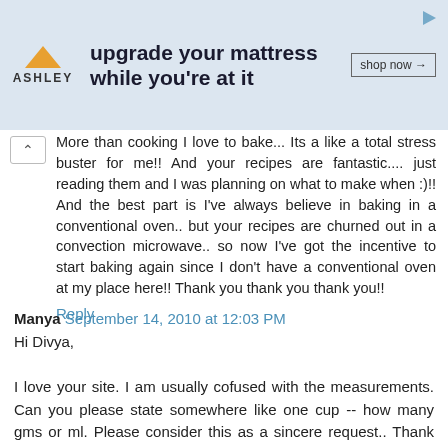[Figure (other): Ashley Furniture advertisement banner: Ashley logo with triangle icon, text 'upgrade your mattress while you're at it', and a 'shop now' button]
More than cooking I love to bake... Its a like a total stress buster for me!! And your recipes are fantastic.... just reading them and I was planning on what to make when :)!! And the best part is I've always believe in baking in a conventional oven.. but your recipes are churned out in a convection microwave.. so now I've got the incentive to start baking again since I don't have a conventional oven at my place here!! Thank you thank you thank you!!
Reply
Manya  September 14, 2010 at 12:03 PM
Hi Divya,
I love your site. I am usually cofused with the measurements. Can you please state somewhere like one cup -- how many gms or ml. Please consider this as a sincere request.. Thank you..